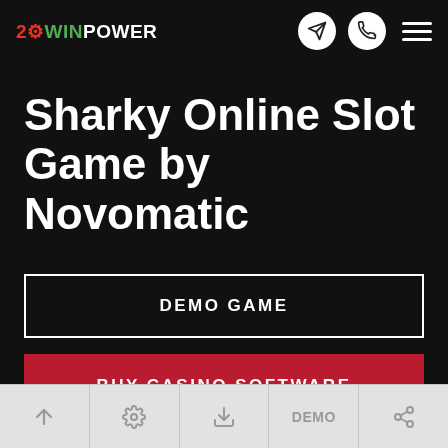2WINPOWER navigation header with logo, telegram icon, phone icon, and hamburger menu
Sharky Online Slot Game by Novomatic
DEMO GAME
BUY CASINO SOFTWARE
Bottom navigation bar with up arrow, settings, download, DEMO, and share icons